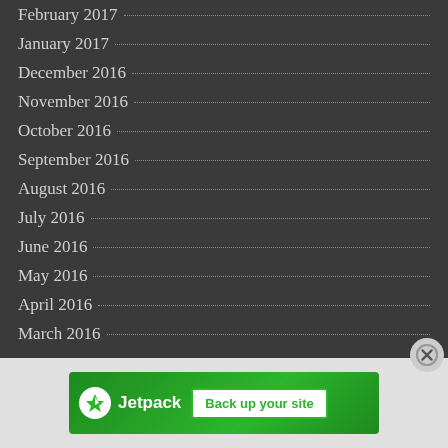February 2017
January 2017
December 2016
November 2016
October 2016
September 2016
August 2016
July 2016
June 2016
May 2016
April 2016
March 2016
[Figure (other): Jetpack advertisement banner: green background with Jetpack logo and 'Back up your site' button]